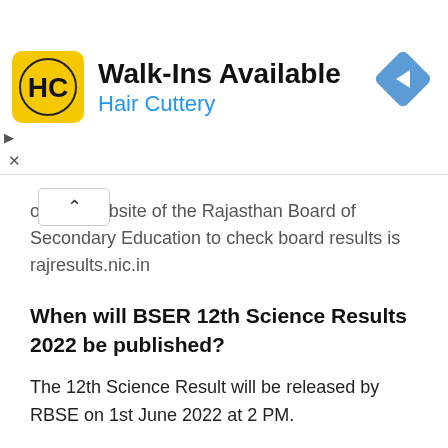[Figure (other): Hair Cuttery advertisement banner with HC logo and navigation arrow icon]
official website of the Rajasthan Board of Secondary Education to check board results is rajresults.nic.in
When will BSER 12th Science Results 2022 be published?
The 12th Science Result will be released by RBSE on 1st June 2022 at 2 PM.
How to download RBSE 12th Science Results 2022